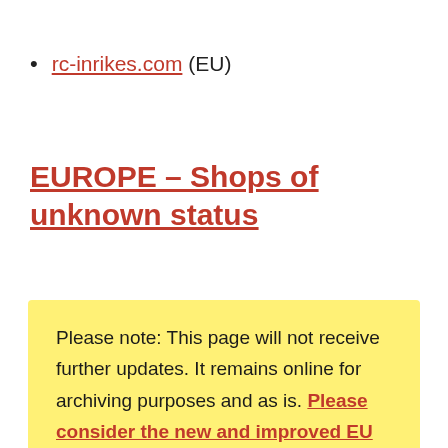rc-inrikes.com (EU)
EUROPE – Shops of unknown status
Please note: This page will not receive further updates. It remains online for archiving purposes and as is. Please consider the new and improved EU Vendors List for 2022.